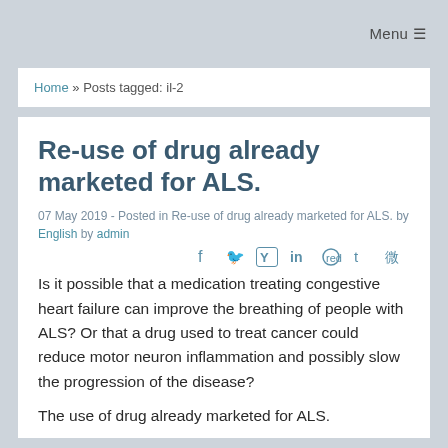Menu ☰
Home » Posts tagged: il-2
Re-use of drug already marketed for ALS.
07 May 2019 - Posted in Re-use of drug already marketed for ALS. by English by admin
[Figure (other): Social media sharing icons: Facebook, Twitter, Y (Hacker News), LinkedIn, Reddit, Tumblr, Weibo]
Is it possible that a medication treating congestive heart failure can improve the breathing of people with ALS? Or that a drug used to treat cancer could reduce motor neuron inflammation and possibly slow the progression of the disease?
The use of drug already marketed for ALS...